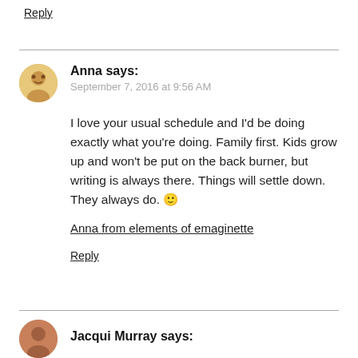Reply
Anna says:
September 7, 2016 at 9:56 AM
I love your usual schedule and I'd be doing exactly what you're doing. Family first. Kids grow up and won't be put on the back burner, but writing is always there. Things will settle down. They always do. 🙂
Anna from elements of emaginette
Reply
Jacqui Murray says: